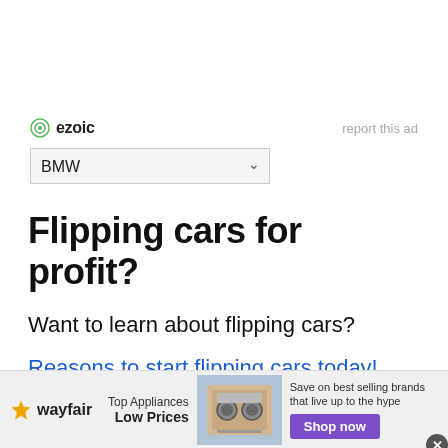[Figure (logo): Ezoic logo with green circular icon and bold text 'ezoic', with 'report this ad' link to the right]
[Figure (other): BMW dropdown select element with chevron arrow]
Flipping cars for profit?
Want to learn about flipping cars?
Reasons to start flipping cars today!
[Figure (other): Wayfair advertisement banner: wayfair logo, Top Appliances Low Prices, kitchen appliance image, Save on best selling brands that live up to the hype, Shop now button]